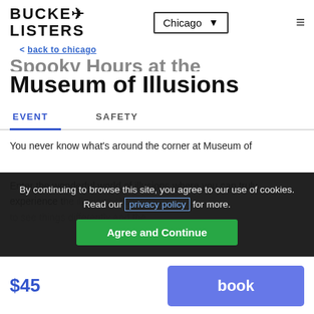BUCKET LISTERS — Chicago navigation
< back to chicago
Spooky Hours at the Museum of Illusions
EVENT | SAFETY
You never know what's around the corner at Museum of...
Enter the wonderful world of illusions where you can truly experience the... illusions challenge us to see things differently and the...
By continuing to browse this site, you agree to our use of cookies. Read our privacy policy for more.
Agree and Continue
$45
book